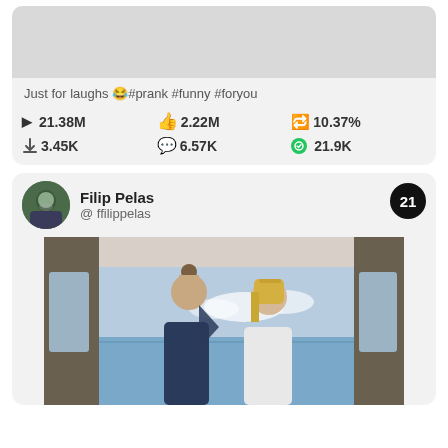Just for laughs 😂#prank #funny #foryou
▶ 21.38M
👍 2.22M
10.37%
3.45K
6.57K
21.9K
Filip Pelas
@ ffilippelas
21
[Figure (photo): Two people facing each other inside a boat cabin with ocean view in background]